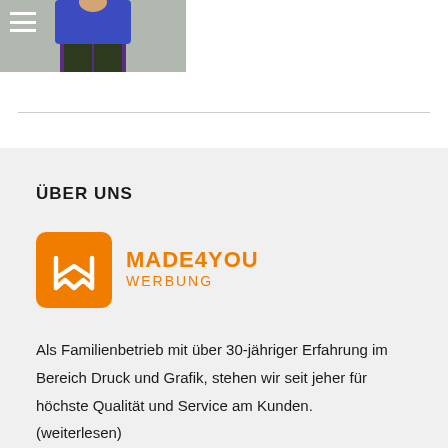[Figure (photo): Top portion of a person wearing a blue shirt and dark trousers, with a hamburger menu icon in the top-left corner]
[Figure (logo): Made4You Werbung logo: orange rounded square with stylized MW icon, followed by orange text MADE4YOU WERBUNG]
ÜBER UNS
Als Familienbetrieb mit über 30-jähriger Erfahrung im Bereich Druck und Grafik, stehen wir seit jeher für höchste Qualität und Service am Kunden. (weiterlesen)